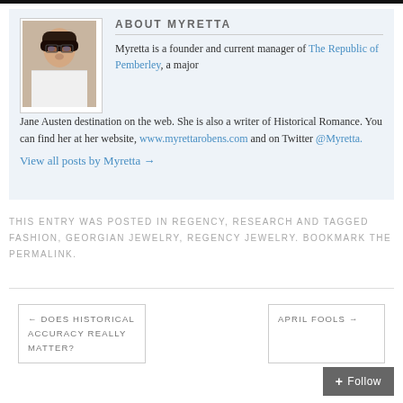[Figure (photo): Portrait photo of Myretta, a woman with short dark hair and glasses, wearing a white top.]
ABOUT MYRETTA
Myretta is a founder and current manager of The Republic of Pemberley, a major Jane Austen destination on the web. She is also a writer of Historical Romance. You can find her at her website, www.myrettarobens.com and on Twitter @Myretta.
View all posts by Myretta →
THIS ENTRY WAS POSTED IN REGENCY, RESEARCH AND TAGGED FASHION, GEORGIAN JEWELRY, REGENCY JEWELRY. BOOKMARK THE PERMALINK.
← DOES HISTORICAL ACCURACY REALLY MATTER?
APRIL FOOLS →